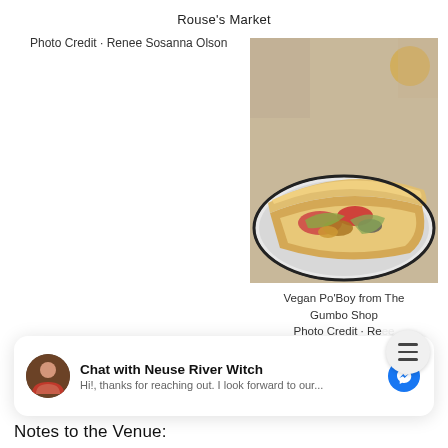Rouse's Market
Photo Credit - Renee Sosanna Olson
[Figure (photo): A vegan po'boy sandwich with vegetables on a plate, photographed at a restaurant]
Vegan Po'Boy from The Gumbo Shop
Photo Credit - Renee Sosanna Olson
Chat with Neuse River Witch
Hi!, thanks for reaching out. I look forward to our...
Notes to the Venue: